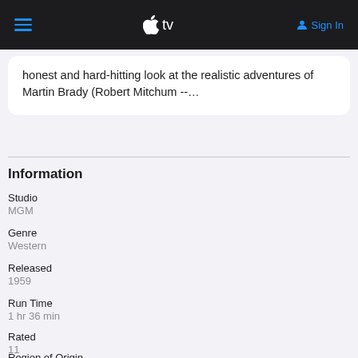Apple TV — Sign In
honest and hard-hitting look at the realistic adventures of Martin Brady (Robert Mitchum --…
Information
Studio
MGM
Genre
Western
Released
1959
Run Time
1 hr 36 min
Rated
11
Region of Origin